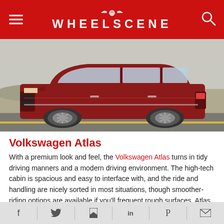WHEELSCENE
[Figure (photo): Side profile of a red Volkswagen Atlas SUV driving on a road with desert brush in the background]
Volkswagen Atlas
With a premium look and feel, the Volkswagen Atlas turns in tidy driving manners and a modern driving environment. The high-tech cabin is spacious and easy to interface with, and the ride and handling are nicely sorted in most situations, though smoother-riding options are available if you'll frequent rough surfaces. Atlas delivers little short of the market's very latest safety tech, and two body styles are available for personalization. Passenger space is generous, too. Shoppers
f | Twitter | Share | in | P | Email